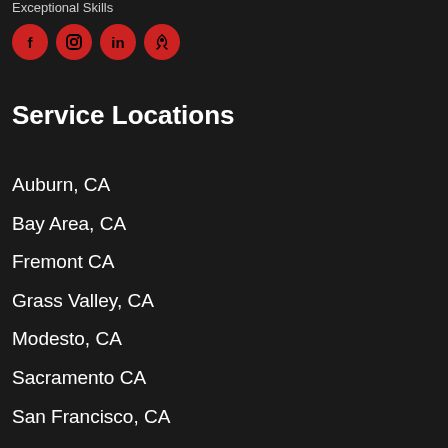Exceptional Skills
[Figure (infographic): Four red circular social media icons: Facebook (f), Instagram (camera), LinkedIn (in), Yelp (yelp logo)]
Service Locations
Auburn, CA
Bay Area, CA
Fremont CA
Grass Valley, CA
Modesto, CA
Sacramento CA
San Francisco, CA
San Jose CA